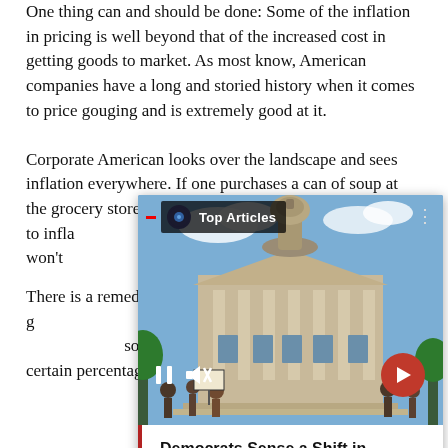One thing can and should be done: Some of the inflation in pricing is well beyond that of the increased cost in getting goods to market. As most know, American companies have a long and storied history when it comes to price gouging and is extremely good at it.
Corporate American looks over the landscape and sees inflation everywhere. If one purchases a can of soup at the grocery store that is now ninety c[ents, the store chalks it up to inflation but the] expense only incre[ased] [by] [twent]y because they won't [admit that greed and] inflation are the ca[use].
[Figure (screenshot): Video overlay card showing a photo of a government building (capitol) with protesters in front. Overlay includes 'Top Articles' label with channel icon, pause and mute controls, a red circular next arrow button, and a headline caption: 'Democrats Sense a Shift in thePolitical Winds, but It May Not Be Enough']
There is a remedy. [There are laws] dedicated to price g[ouging that need to be more] aggressive, putting [companies on] social media, telling consumers to expect a certain percentage increase in pricing, above 11% 15%? But admit it, but that...